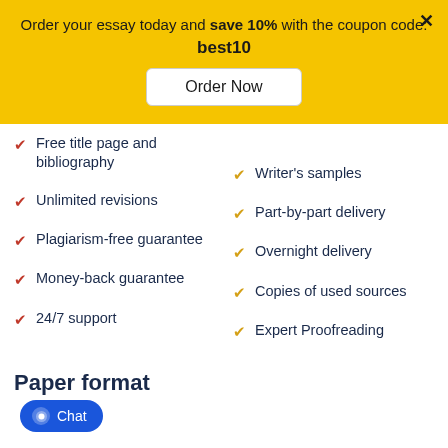Order your essay today and save 10% with the coupon code: best10
Order Now
Free title page and bibliography
Unlimited revisions
Plagiarism-free guarantee
Money-back guarantee
24/7 support
Writer's samples
Part-by-part delivery
Overnight delivery
Copies of used sources
Expert Proofreading
Paper format
Chat